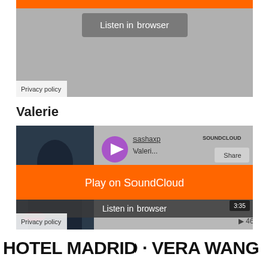[Figure (screenshot): SoundCloud embedded player (top, partially visible) with gray background, orange button at top, 'Listen in browser' button in gray, and 'Privacy policy' label at bottom left.]
Valerie
[Figure (screenshot): SoundCloud embedded player for 'Valerie' by sashaxp showing album art of a person in dark clothing, purple play button, SoundCloud logo, Share button, orange 'Play on SoundCloud' overlay button, 'Listen in browser' dark button, time 3:35, play count 463K, and 'Privacy policy' label at bottom left.]
HOTEL MADRID · VERA WANG